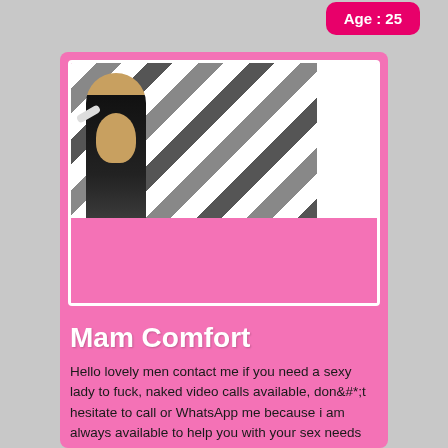Age : 25
[Figure (photo): A person with blonde hair wearing a dark outfit and silver hat, posing with one arm raised, against a striped background]
Mam Comfort
Hello lovely men contact me if you need a sexy lady to fuck, naked video calls available, don&#*;t hesitate to call or WhatsApp me because i am always available to help you with your sex needs thick balls blow job all available